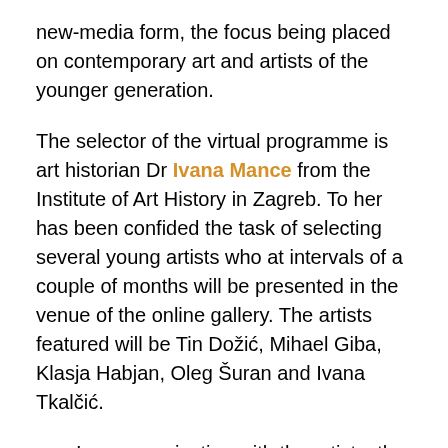new-media form, the focus being placed on contemporary art and artists of the younger generation.
The selector of the virtual programme is art historian Dr Ivana Mance from the Institute of Art History in Zagreb. To her has been confided the task of selecting several young artists who at intervals of a couple of months will be presented in the venue of the online gallery. The artists featured will be Tin Dožić, Mihael Giba, Klasja Habjan, Oleg Šuran and Ivana Tkalčić.
In communication with the artists, the idea of infiltrating the space of the Pavilion was developed, in a kind of parasitism of its digital sphere, because it is not permitted to spend time